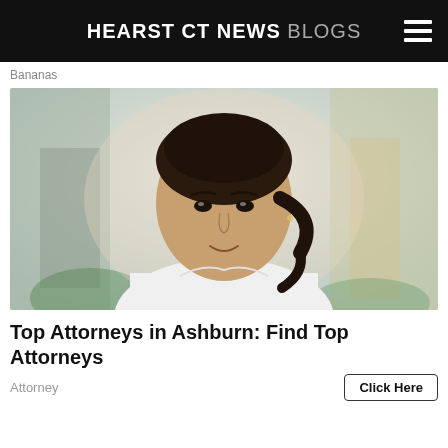HEARST CT NEWS BLOGS
Bananas
[Figure (photo): Professional headshot of a young woman with dark hair pulled back, wearing a white blouse and thin gold necklace, standing outdoors with a blurred urban background]
Top Attorneys in Ashburn: Find Top Attorneys
Attorney
Click Here